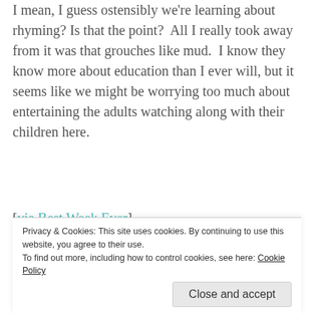I mean, I guess ostensibly we're learning about rhyming? Is that the point? All I really took away from it was that grouches like mud. I know they know more about education than I ever will, but it seems like we might be worrying too much about entertaining the adults watching along with their children here.
[via Best Week Ever]
[Update: Flavorwire has 10 additional Sesame Street parodies, including Mad Men and 30 Rock.]
Privacy & Cookies: This site uses cookies. By continuing to use this website, you agree to their use. To find out more, including how to control cookies, see here: Cookie Policy